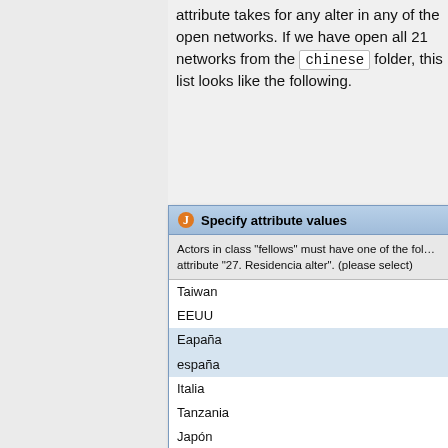attribute takes for any alter in any of the open networks. If we have open all 21 networks from the chinese folder, this list looks like the following.
[Figure (screenshot): A Java dialog box titled 'Specify attribute values' showing a list of country/region values: Taiwan, EEUU, Eapaña, españa, Italia, Tanzania, Japón, Suiza, Barcelona (selected/highlighted), Estados Unidos, Taiwán, Suecia, Xina, Espanya/Xina (highlighted), Nueva Zelanda. The dialog has a description: Actors in class 'fellows' must have one of the following values for attribute '27. Residencia alter'. (please select)]